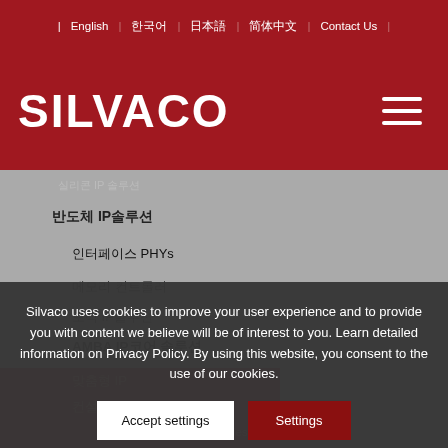| English | 한국어 | 日本語 | 简体中文 | Contact Us |
[Figure (logo): Silvaco company logo in white text on red background, with hamburger menu icon]
실리콘 IP 솔루션
반도체 IP솔루션
인터페이스 PHYs
메모리 컨트롤러
로직 IP솔루션
AMBA IP 코어 솔루션
맞춤형 IP
Silvaco uses cookies to improve your user experience and to provide you with content we believe will be of interest to you. Learn detailed information on Privacy Policy. By using this website, you consent to the use of our cookies.
Accept settings
Settings